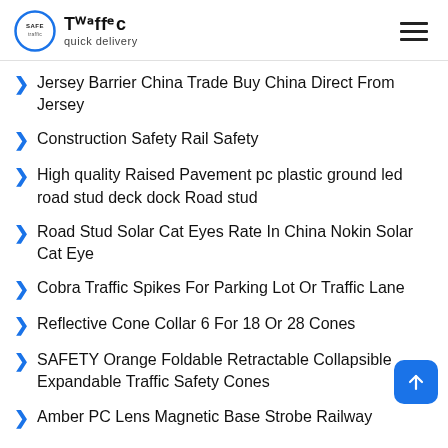[Figure (logo): Safe Traffic quick delivery logo with blue circle and stylized text]
Jersey Barrier China Trade Buy China Direct From Jersey
Construction Safety Rail Safety
High quality Raised Pavement pc plastic ground led road stud deck dock Road stud
Road Stud Solar Cat Eyes Rate In China Nokin Solar Cat Eye
Cobra Traffic Spikes For Parking Lot Or Traffic Lane
Reflective Cone Collar 6 For 18 Or 28 Cones
SAFETY Orange Foldable Retractable Collapsible Expandable Traffic Safety Cones
Amber PC Lens Magnetic Base Strobe Railway